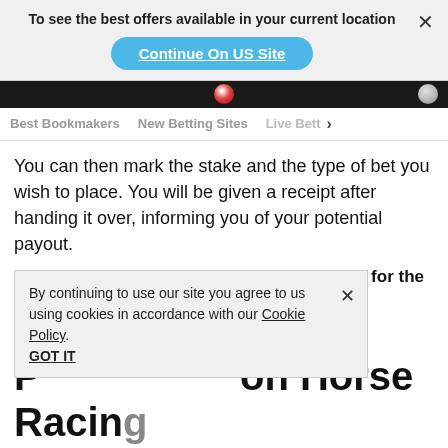To see the best offers available in your current location
Continue On US Site
Best Bookmakers   New Betting Sites   Live Bett >
You can then mark the stake and the type of bet you wish to place. You will be given a receipt after handing it over, informing you of your potential payout.
Read More: Get the best Cheltenham Offers for the 2022 Festival!
By continuing to use our site you agree to us using cookies in accordance with our Cookie Policy.
GOT IT
P...on Horse Racing